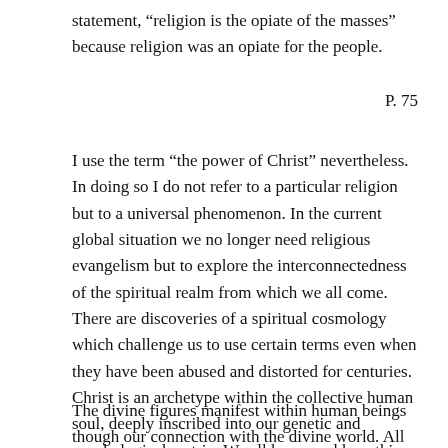statement, “religion is the opiate of the masses” because religion was an opiate for the people.
P. 75
I use the term “the power of Christ” nevertheless. In doing so I do not refer to a particular religion but to a universal phenomenon. In the current global situation we no longer need religious evangelism but to explore the interconnectedness of the spiritual realm from which we all come. There are discoveries of a spiritual cosmology which challenge us to use certain terms even when they have been abused and distorted for centuries. Christ is an archetype within the collective human soul, deeply inscribed into our genetic and psychological matrix. We all know and love this image even if we reject it.
The divine figures manifest within human beings though our connection with the divine world. All religions and